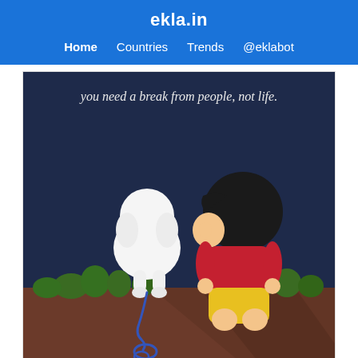ekla.in
Home  Countries  Trends  @eklabot
[Figure (illustration): Cartoon illustration of a boy (Shinchan) sitting beside a white dog (Shiro) at night, both looking away. Text at top reads: 'you need a break from people, not life.' Background shows dark blue night sky, green grass, and brown ground. A blue leash is on the ground.]
20 Aug, 09:59 AM UTC